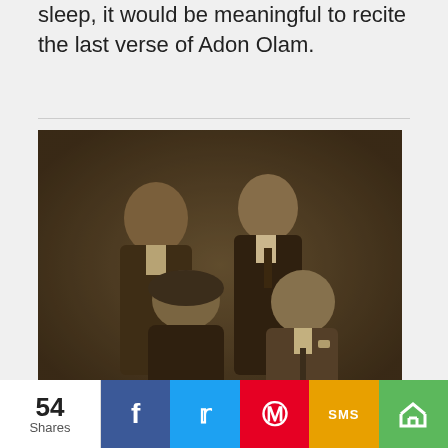sleep, it would be meaningful to recite the last verse of Adon Olam.
[Figure (photo): Vintage sepia-toned group portrait of four people: two men standing in the back row, one woman and one man seated in the front row, dressed in formal attire from approximately the 1930s-1940s.]
The Melodies of the Four Questions: Mah Nishtanah Tunes from...
54 Shares
f  (Facebook share)  Twitter share  Pinterest share  SMS share  General share